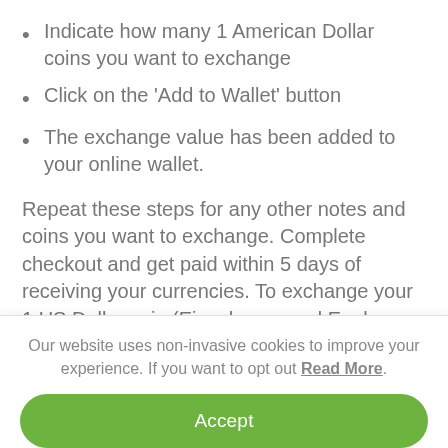Indicate how many 1 American Dollar coins you want to exchange
Click on the 'Add to Wallet' button
The exchange value has been added to your online wallet.
Repeat these steps for any other notes and coins you want to exchange. Complete checkout and get paid within 5 days of receiving your currencies. To exchange your 1 US Dollar coin (Eisenhower and Eagle landing on
Our website uses non-invasive cookies to improve your experience. If you want to opt out Read More.
Accept